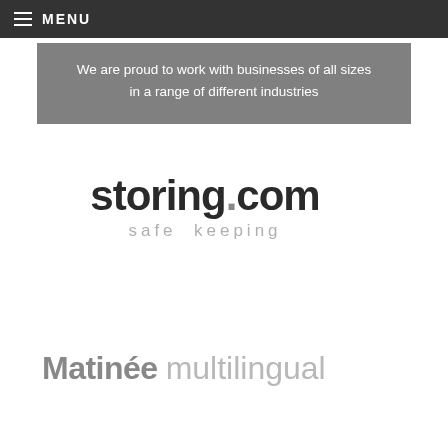≡ MENU
We are proud to work with businesses of all sizes in a range of different industries
[Figure (logo): storing.com logo with tagline 'safe keeping' in gray tones]
[Figure (logo): Matinée multilingual logo with bold dark gray 'Matinée' and light gray 'multilingual']